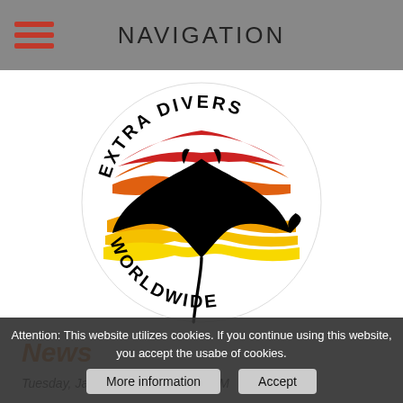NAVIGATION
[Figure (logo): Extra Divers Worldwide circular logo with a manta ray silhouette over a sunset with red, orange, and yellow wave stripes.]
News
Tuesday, January 12, 2016   9:44 AM
Big clean up-event in Dahab: clean up Dahab -
Attention: This website utilizes cookies. If you continue using this website, you accept the usabe of cookies.